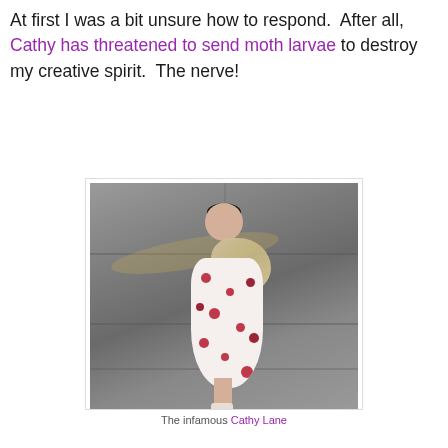At first I was a bit unsure how to respond. After all, Cathy has threatened to send moth larvae to destroy my creative spirit. The nerve!
[Figure (photo): A woman with short dark hair wearing a strapless floral dress and a fur stole, photographed from above on a paved street surface. She is smiling and appears to be posing.]
The infamous Cathy Lane